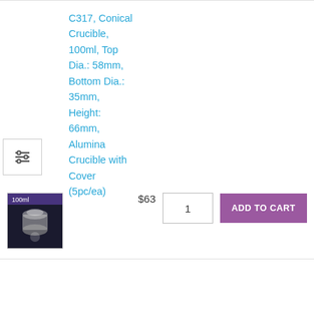[Figure (screenshot): E-commerce product listing page showing two conical alumina crucible products (C317 and C318) with product images, names, prices, quantity boxes, and Add to Cart buttons.]
C317, Conical Crucible, 100ml, Top Dia.: 58mm, Bottom Dia.: 35mm, Height: 66mm, Alumina Crucible with Cover (5pc/ea)
$63
1
ADD TO CART
C318, Conical Crucible, 150ml, Top Dia.: 75mm, Bottom Dia.: 45mm, Height:
$18
1
ADD TO CART